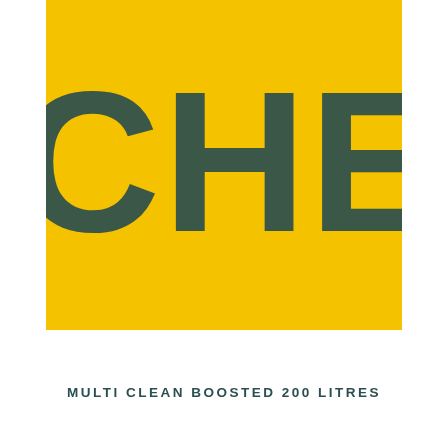[Figure (photo): Close-up of a yellow container/drum with large dark teal letters 'CHEM' partially visible, cropped so only 'C', 'HEM' are visible along with partial letters above. Yellow background with textured surface.]
MULTI CLEAN BOOSTED 200 LITRES